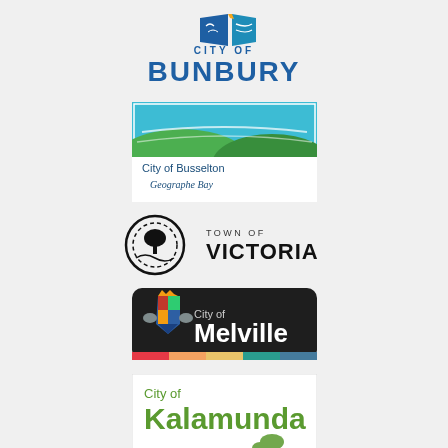[Figure (logo): City of Bunbury logo with stylized flag graphic in blue and teal, text reading CITY OF BUNBURY in bold blue uppercase letters]
[Figure (logo): City of Busselton Geographe Bay logo with teal/green landscape graphic above text reading City of Busselton Geographe Bay]
[Figure (logo): Town of Victoria Park logo with circular black emblem showing a tree, beside text TOWN OF VICTORIA PARK]
[Figure (logo): City of Melville logo on dark rounded rectangle background showing a coat of arms and text City of Melville with multicolour stripe at bottom]
[Figure (logo): City of Kalamunda logo in green text on white background showing City of Kalamunda with graphic element]